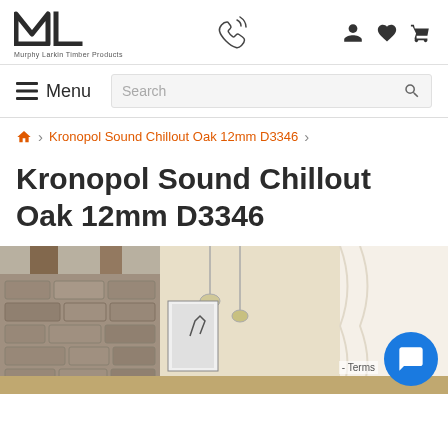Murphy Larkin Timber Products
Menu  Search
🏠 > Kronopol Sound Chillout Oak 12mm D3346 >
Kronopol Sound Chillout Oak 12mm D3346
[Figure (photo): Interior room scene showing wooden paneling, stone wall, pendant lights, and white curtains - product lifestyle photo for flooring product]